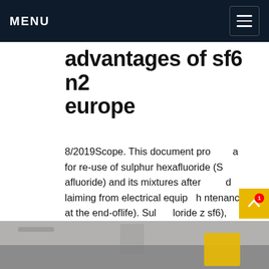MENU
advantages of sf6 n2 europe
8/2019Scope. This document provides a for re-use of sulphur hexafluoride (s afluoride) and its mixtures after d laiming from electrical equip h ntenance, at the end-oflife). Sulp loride z sf6), nitrogen (N2) and carbon tetrafluoride 4), are gases commonly used for electrical ipment.Get price
[Figure (photo): Interior photo of industrial equipment or facility, partially visible at the bottom of the page]
REQUEST A QUOTE